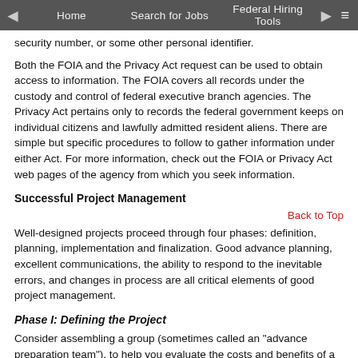Home | Search for Jobs | Federal Hiring Tools
security number, or some other personal identifier.
Both the FOIA and the Privacy Act request can be used to obtain access to information. The FOIA covers all records under the custody and control of federal executive branch agencies. The Privacy Act pertains only to records the federal government keeps on individual citizens and lawfully admitted resident aliens. There are simple but specific procedures to follow to gather information under either Act. For more information, check out the FOIA or Privacy Act web pages of the agency from which you seek information.
Successful Project Management
Back to Top
Well-designed projects proceed through four phases: definition, planning, implementation and finalization. Good advance planning, excellent communications, the ability to respond to the inevitable errors, and changes in process are all critical elements of good project management.
Phase I: Defining the Project
Consider assembling a group (sometimes called an "advance preparation team"), to help you evaluate the costs and benefits of a potential project by defining the:
Specific goals and objectives. What is the project supposed to achieve? What will have been added or improved once the project has been completed?
Stakeholders. Who is going to be affected by the outcome of the project? What will they gain?
Scope. How large is the project's objective?
Limiting factors. What are the parameters, constraints and risk factors?
Resources required. What resources would be needed in terms of...